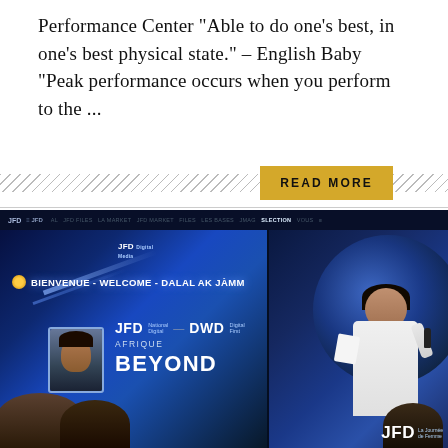Performance Center "Able to do one's best, in one's best physical state." – English Baby "Peak performance occurs when you perform to the ...
READ MORE
[Figure (screenshot): Screenshot of a JFD event webpage showing a conference presentation. Left panel shows a presentation screen with text 'BIENVENUE - WELCOME - DALAL AK JÀMM', JFD DWD logos, 'AFRIQUE' and 'BEYOND' text, and a portrait in a frame. Right panel shows a female presenter in white suit holding a microphone on stage with a globe graphic in background. JFD watermark at bottom right.]